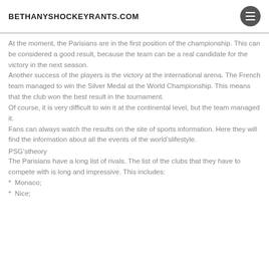BETHANYSHOCKEYRANTS.COM
At the moment, the Parisians are in the first position of the championship. This can be considered a good result, because the team can be a real candidate for the victory in the next season.
Another success of the players is the victory at the international arena. The French team managed to win the Silver Medal at the World Championship. This means that the club won the best result in the tournament.
Of course, it is very difficult to win it at the continental level, but the team managed it.
Fans can always watch the results on the site of sports information. Here they will find the information about all the events of the world’slifestyle.
PSG’stheory
The Parisians have a long list of rivals. The list of the clubs that they have to compete with is long and impressive. This includes:
* Monaco;
* Nice;